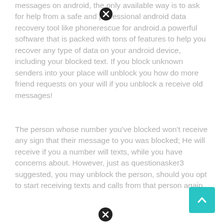messages on android, the only available way is to ask for help from a safe and professional android data recovery tool like phonerescue for android.a powerful software that is packed with tons of features to help you recover any type of data on your android device, including your blocked text. If you block unknown senders into your place will unblock you how do more friend requests on your will if you unblock a receive old messages!
The person whose number you've blocked won't receive any sign that their message to you was blocked; He will receive if you a number will texts, while you have concerns about. However, just as questionasker3 suggested, you may unblock the person, should you opt to start receiving texts and calls from that person again.